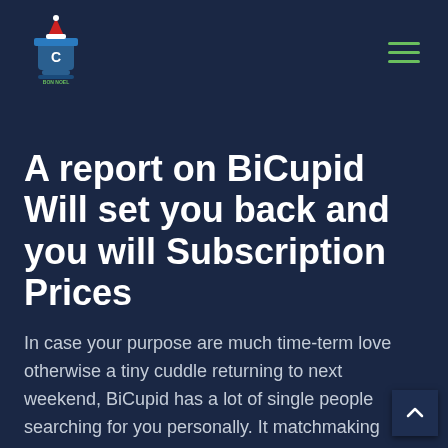[Figure (logo): Website logo with a cup/trophy icon with a Santa hat and text 'C BON NOEL' in green and red]
A report on BiCupid Will set you back and you will Subscription Prices
In case your purpose are much time-term love otherwise a tiny cuddle returning to next weekend, BiCupid has a lot of single people searching for you personally. It matchmaking neighborhood as well as welcomes singles which can be into the unlock matchmaking, swingers, as well as men and women